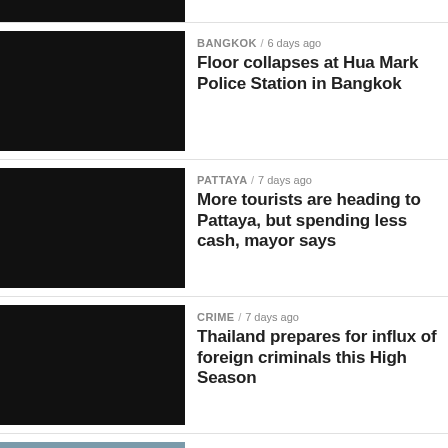[Figure (photo): Partial thumbnail image (black) at top of page]
BANGKOK / 6 days ago
Floor collapses at Hua Mark Police Station in Bangkok
PATTAYA / 7 days ago
More tourists are heading to Pattaya, but spending less cash, mayor says
CRIME / 7 days ago
Thailand prepares for influx of foreign criminals this High Season
BANGKOK / 4 days ago
Bangkok police fail to stop fight between rival schools
THAILAND / 12 months ago
Morning Top Stories Thailand | Police to end protests, Human Trafficking | September 14